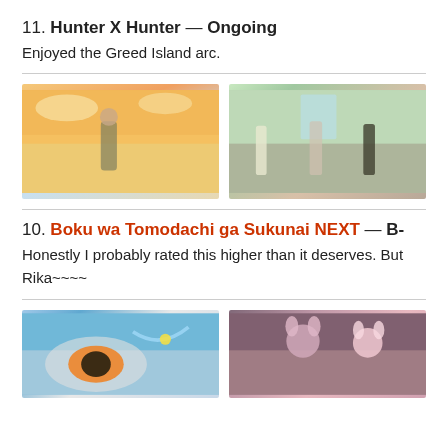11. Hunter X Hunter — Ongoing
Enjoyed the Greed Island arc.
[Figure (photo): Anime still from Hunter X Hunter: female character in green dress at sunset]
[Figure (photo): Anime still from Hunter X Hunter: multiple female characters in school uniforms fighting]
10. Boku wa Tomodachi ga Sukunai NEXT — B-
Honestly I probably rated this higher than it deserves. But Rika~~~~
[Figure (photo): Anime still showing a large eye and action scene with blue energy]
[Figure (photo): Anime still showing two female characters with animal ears, one with pink hair]